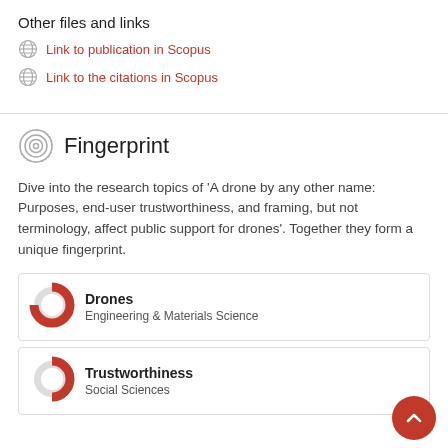Other files and links
Link to publication in Scopus
Link to the citations in Scopus
Fingerprint
Dive into the research topics of 'A drone by any other name: Purposes, end-user trustworthiness, and framing, but not terminology, affect public support for drones'. Together they form a unique fingerprint.
Drones
Engineering & Materials Science
Trustworthiness
Social Sciences